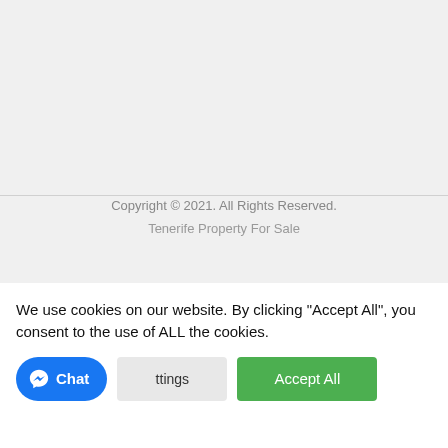Copyright © 2021. All Rights Reserved.
Tenerife Property For Sale
[Figure (illustration): Silhouette of a city skyline in light grey on a light grey background]
[Figure (logo): Google reCAPTCHA badge with spinning arrows logo and Privacy · Terms links]
We use cookies on our website. By clicking "Accept All", you consent to the use of ALL the cookies.
Cookie Settings button and Accept All button
Chat